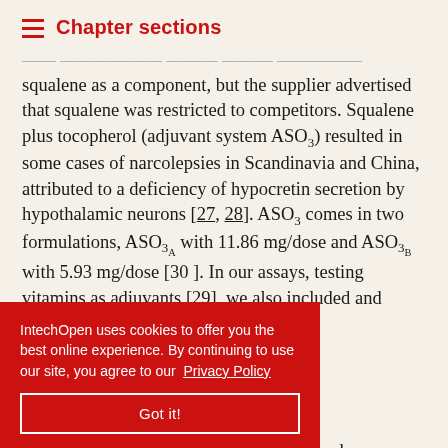Chapter sections
We continued formulating our adjuvant using squalene as a component, but the supplier advertised that squalene was restricted to competitors. Squalene plus tocopherol (adjuvant system ASO3) resulted in some cases of narcolepsies in Scandinavia and China, attributed to a deficiency of hypocretin secretion by hypothalamic neurons [27, 28]. ASO3 comes in two formulations, ASO3A with 11.86 mg/dose and ASO3B with 5.93 mg/dose [30]. In our assays, testing vitamins as adjuvants [29], we also included and studied tocopherol present in ...nter, and ...eloped the ...phosphoryl ...production of ...low). This MrLA has been shown to be a powerful adjuvant.
IntechOpen uses cookies to offer you the best online experience. By continuing to use our site, you agree to our Privacy Policy
Got it!